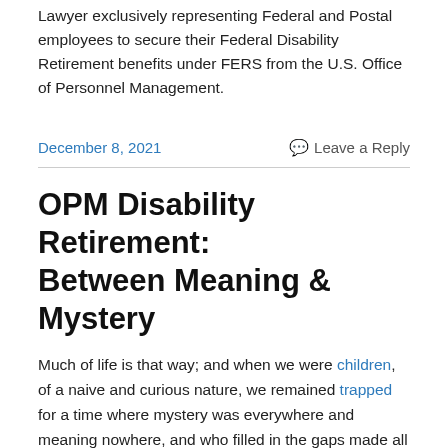Lawyer exclusively representing Federal and Postal employees to secure their Federal Disability Retirement benefits under FERS from the U.S. Office of Personnel Management.
December 8, 2021
Leave a Reply
OPM Disability Retirement: Between Meaning & Mystery
Much of life is that way; and when we were children, of a naive and curious nature, we remained trapped for a time where mystery was everywhere and meaning nowhere, and who filled in the gaps made all of the difference.